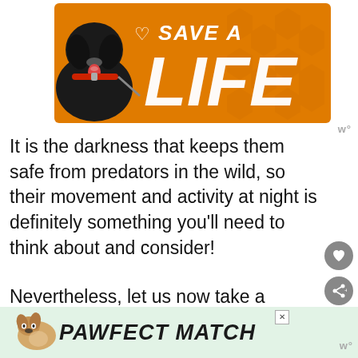[Figure (illustration): Orange banner with 'SAVE A LIFE' text and large white italic 'LIFE' text, with a black dog (Labrador with red collar) on the left side. Hexagon pattern in background.]
It is the darkness that keeps them safe from predators in the wild, so their movement and activity at night is definitely something you'll need to think about and consider!
Nevertheless, let us now take a closer look at the importance of the
[Figure (illustration): Bottom advertisement banner with white/light green background showing a small dog illustration and bold italic text 'PAWFECT MATCH' in dark color. Has a close button (X) in upper right.]